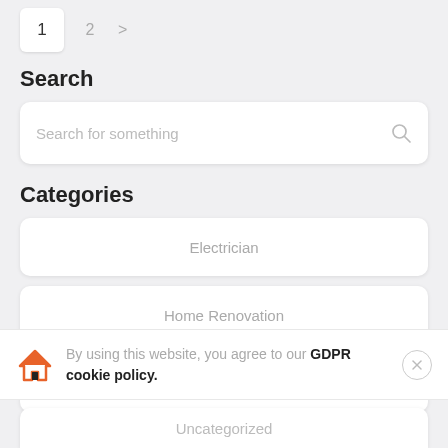1  2  >
Search
[Figure (screenshot): Search input box with placeholder text 'Search for something' and a search icon on the right]
Categories
Electrician
Home Renovation
Lighting
By using this website, you agree to our GDPR cookie policy.
Uncategorized